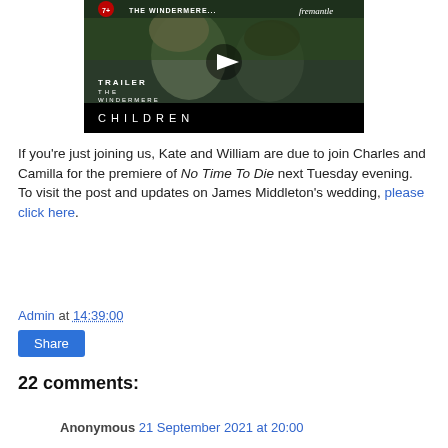[Figure (screenshot): Video thumbnail showing a trailer for 'The Windermere Children'. Shows two people's faces, a play button icon, and text: TRAILER / THE / WINDERMERE / CHILDREN. Fremantle branding at top right.]
If you're just joining us, Kate and William are due to join Charles and Camilla for the premiere of No Time To Die next Tuesday evening. To visit the post and updates on James Middleton's wedding, please click here.
Admin at 14:39:00
Share
22 comments:
Anonymous 21 September 2021 at 20:00